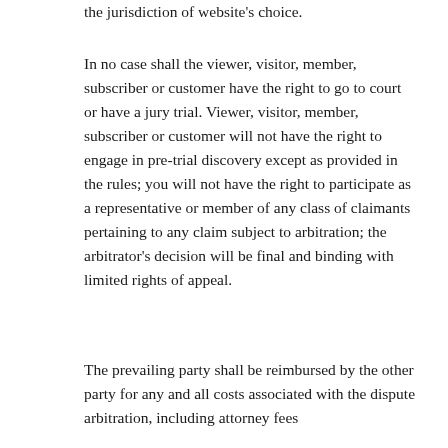the jurisdiction of website's choice.
In no case shall the viewer, visitor, member, subscriber or customer have the right to go to court or have a jury trial. Viewer, visitor, member, subscriber or customer will not have the right to engage in pre-trial discovery except as provided in the rules; you will not have the right to participate as a representative or member of any class of claimants pertaining to any claim subject to arbitration; the arbitrator's decision will be final and binding with limited rights of appeal.
The prevailing party shall be reimbursed by the other party for any and all costs associated with the dispute arbitration, including attorney fees...